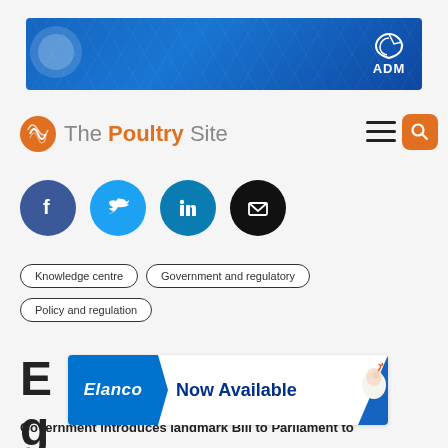[Figure (photo): ADM banner advertisement with blue hexagonal background pattern and ADM logo on right side]
[Figure (logo): The Poultry Site logo with orange globe icon and site name text]
[Figure (infographic): Social media share buttons: Facebook (blue), Twitter (light blue), LinkedIn (dark blue), Email (black)]
Knowledge centre
Government and regulatory
Policy and regulation
England ... g ... Government introduces landmark Bill to Parliament to
[Figure (photo): Elanco advertisement overlay showing Elanco logo and 'Now Available' text with chicken image]